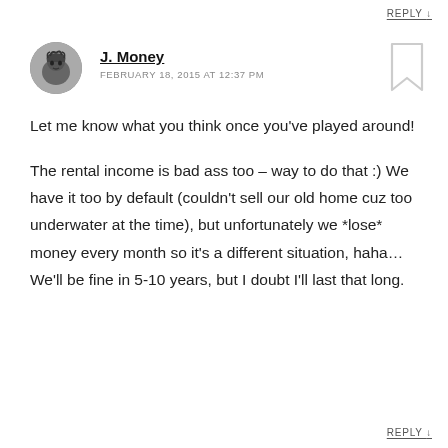REPLY ↓
[Figure (photo): Circular avatar photo of J. Money, a person with dark spiky hair, shown in black and white.]
J. Money
FEBRUARY 18, 2015 AT 12:37 PM
[Figure (illustration): Bookmark icon outline in light gray.]
Let me know what you think once you've played around!
The rental income is bad ass too – way to do that :) We have it too by default (couldn't sell our old home cuz too underwater at the time), but unfortunately we *lose* money every month so it's a different situation, haha… We'll be fine in 5-10 years, but I doubt I'll last that long.
REPLY ↓